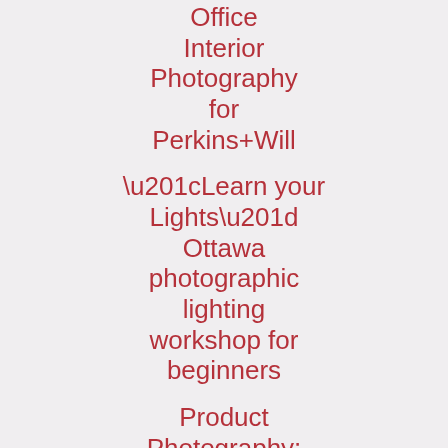Office Interior Photography for Perkins+Will
“Learn your Lights” Ottawa photographic lighting workshop for beginners
Product Photography: Pancake Lens
Photowalking Beechwood
Beechwood Villiage Photowalk